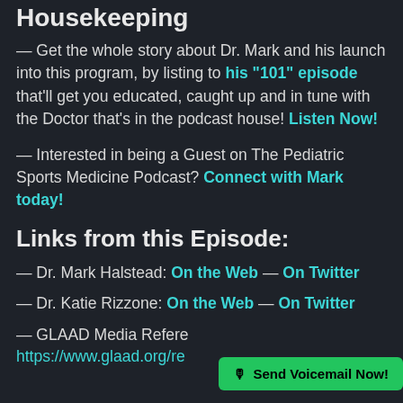Housekeeping
— Get the whole story about Dr. Mark and his launch into this program, by listing to his “101” episode that’ll get you educated, caught up and in tune with the Doctor that’s in the podcast house! Listen Now!
— Interested in being a Guest on The Pediatric Sports Medicine Podcast? Connect with Mark today!
Links from this Episode:
— Dr. Mark Halstead: On the Web — On Twitter
— Dr. Katie Rizzone: On the Web — On Twitter
— GLAAD Media Reference https://www.glaad.org/reference